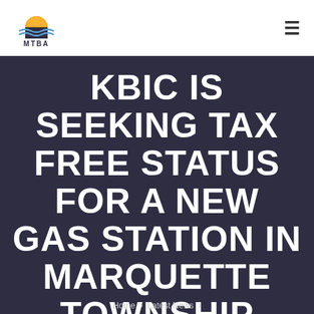[Figure (logo): MTBA logo: sun rising over water waves, with text MTBA below]
KBIC IS SEEKING TAX FREE STATUS FOR A NEW GAS STATION IN MARQUETTE TOWNSHIP
Home  ›  Latest News  ›